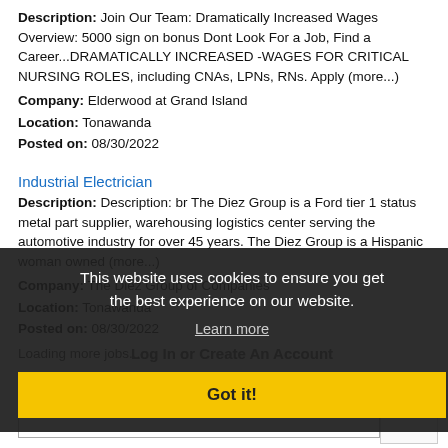Description: Join Our Team: Dramatically Increased Wages Overview: 5000 sign on bonus Dont Look For a Job, Find a Career...DRAMATICALLY INCREASED -WAGES FOR CRITICAL NURSING ROLES, including CNAs, LPNs, RNs. Apply (more...)
Company: Elderwood at Grand Island
Location: Tonawanda
Posted on: 08/30/2022
Industrial Electrician
Description: Description: br The Diez Group is a Ford tier 1 status metal part supplier, warehousing logistics center serving the automotive industry for over 45 years. The Diez Group is a Hispanic woman owned (more...)
Company: The Diez Group of Companies
Location: Tonawanda
Posted on: 08/30/2022
Loading more jobs...
This website uses cookies to ensure you get the best experience on our website.
Learn more
Log In or Create An Account
Got it!
Username: